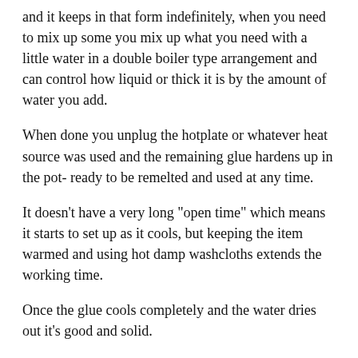and it keeps in that form indefinitely, when you need to mix up some you mix up what you need with a little water in a double boiler type arrangement and can control how liquid or thick it is by the amount of water you add.
When done you unplug the hotplate or whatever heat source was used and the remaining glue hardens up in the pot- ready to be remelted and used at any time.
It doesn't have a very long "open time" which means it starts to set up as it cools, but keeping the item warmed and using hot damp washcloths extends the working time.
Once the glue cools completely and the water dries out it's good and solid.
Some may not like the odor of the glue when it's in the pot melting, but I don't find it objectionable and certainly not "fumey" it has an odor, or odor level if you will  somewhat like wet cardboard.
I can't stand the smell of epoxy, the smallest amount usually fills